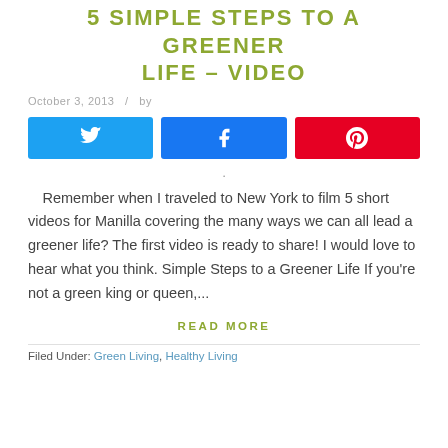5 SIMPLE STEPS TO A GREENER LIFE – VIDEO
October 3, 2013  /  by
[Figure (other): Social sharing buttons: Twitter (blue), Facebook (blue), Pinterest (red)]
.
Remember when I traveled to New York to film 5 short videos for Manilla covering the many ways we can all lead a greener life? The first video is ready to share! I would love to hear what you think. Simple Steps to a Greener Life If you're not a green king or queen,...
READ MORE
Filed Under: Green Living, Healthy Living